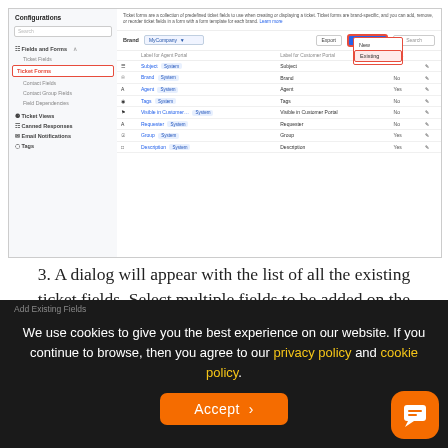[Figure (screenshot): Freshdesk Configurations UI showing Ticket Forms settings with highlighted 'Ticket Forms' in sidebar and 'Add Field' dropdown open showing 'New' and 'Existing' options. Table lists ticket fields: Subject, Brand, Agent, Tags, Visible in Customer Portal, Requester, Group, Description.]
3. A dialog will appear with the list of all the existing ticket fields. Select multiple fields to be added on the form and then click Add.
We use cookies to give you the best experience on our website. If you continue to browse, then you agree to our privacy policy and cookie policy.
Accept >